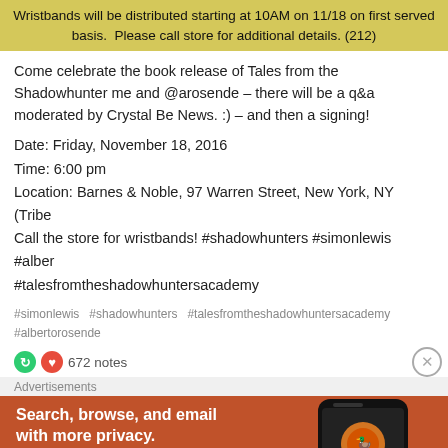Wristbands will be distributed starting at 10AM on 11/18 on first served basis. Please call store for additional details. (212)
Come celebrate the book release of Tales from the Shadowhunter me and @arosende – there will be a q&a moderated by Crystal Be News. :) – and then a signing!
Date: Friday, November 18, 2016
Time: 6:00 pm
Location: Barnes & Noble, 97 Warren Street, New York, NY (Tribe
Call the store for wristbands! #shadowhunters #simonlewis #alber
#talesfromtheshadowhuntersacademy
#simonlewis   #shadowhunters   #talesfromtheshadowhuntersacademy   #albertorosende
672 notes
Advertisements
[Figure (screenshot): DuckDuckGo advertisement banner with orange background showing phone and text: Search, browse, and email with more privacy. All in One Free App.]
Follow